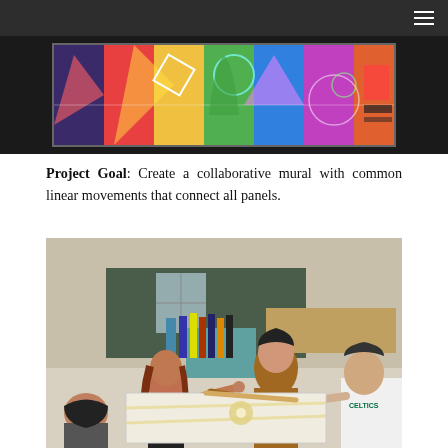[Figure (photo): Colorful collaborative student mural artwork with geometric and abstract patterns in bright colors]
Project Goal: Create a collaborative mural with common linear movements that connect all panels.
[Figure (photo): Students in an art classroom working together around a table, using tape and tools to lay out a large mural on paper. Paint bottles visible on a small table in the background.]